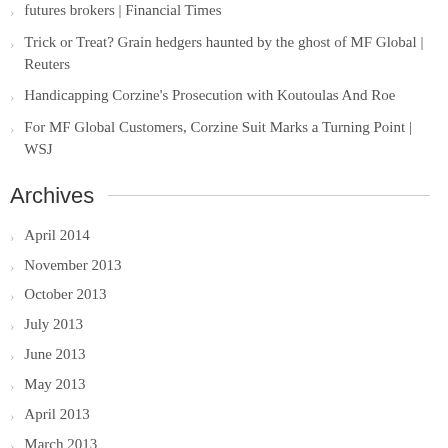futures brokers | Financial Times
Trick or Treat? Grain hedgers haunted by the ghost of MF Global | Reuters
Handicapping Corzine’s Prosecution with Koutoulas And Roe
For MF Global Customers, Corzine Suit Marks a Turning Point | WSJ
Archives
April 2014
November 2013
October 2013
July 2013
June 2013
May 2013
April 2013
March 2013
February 2013